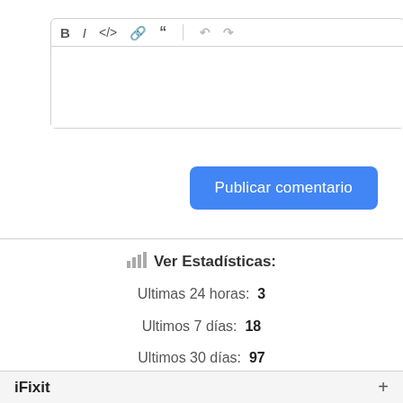[Figure (screenshot): Text editor toolbar with icons: B (bold), I (italic), </> (code), link, blockquote, undo, redo. Below toolbar is an empty white editor body area.]
[Figure (screenshot): Blue rounded button labeled 'Publicar comentario']
Ver Estadísticas:
Ultimas 24 horas:  3
Ultimos 7 días:  18
Ultimos 30 días:  97
Todo El Tiempo:  304,710
iFixit  +